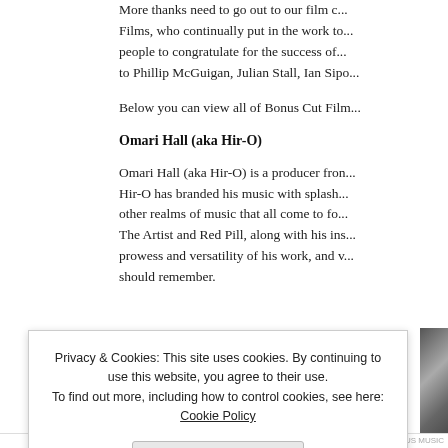More thanks need to go out to our film c... Films, who continually put in the work to... people to congratulate for the success of... to Phillip McGuigan, Julian Stall, Ian Sip...
Below you can view all of Bonus Cut Film...
Omari Hall (aka Hir-O)
Omari Hall (aka Hir-O) is a producer fron... Hir-O has branded his music with splash... other realms of music that all come to fo... The Artist and Red Pill, along with his ins... prowess and versatility of his work, and v... should remember.
Privacy & Cookies: This site uses cookies. By continuing to use this website, you agree to their use. To find out more, including how to control cookies, see here: Cookie Policy
Close and accept